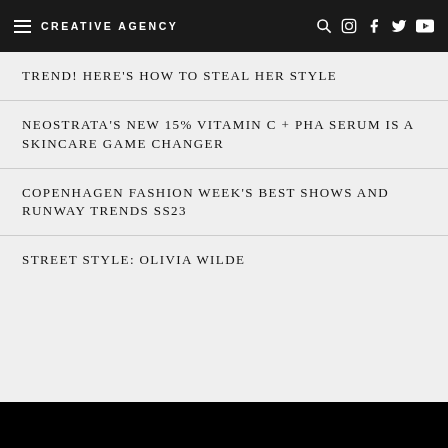CREATIVE AGENCY
TREND! HERE'S HOW TO STEAL HER STYLE
NEOSTRATA'S NEW 15% VITAMIN C + PHA SERUM IS A SKINCARE GAME CHANGER
COPENHAGEN FASHION WEEK'S BEST SHOWS AND RUNWAY TRENDS SS23
STREET STYLE: OLIVIA WILDE